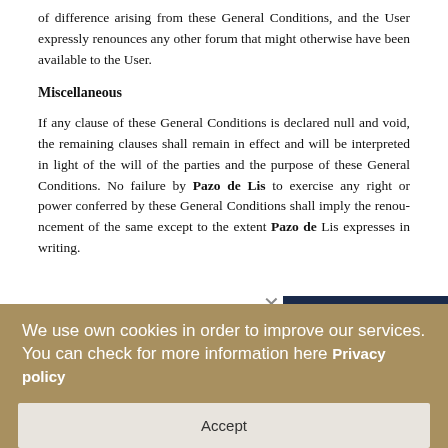of difference arising from these General Conditions, and the User expressly renounces any other forum that might otherwise have been available to the User.
Miscellaneous
If any clause of these General Conditions is declared null and void, the remaining clauses shall remain in effect and will be interpreted in light of the will of the parties and the purpose of these General Conditions. No failure by Pazo de Lis to exercise any right or power conferred by these General Conditions shall imply the renouncement of the same except to the extent Pazo de Lis expresses in writing.
[Figure (logo): Juan Matute Guimón clinic advertisement with dark navy background, title text and clinic subtitle, with a figure silhouette and emblem]
We use own cookies in order to improve our services. You can check for more information here Privacy policy
Accept